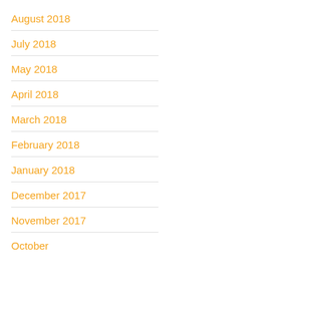August 2018
July 2018
May 2018
April 2018
March 2018
February 2018
January 2018
December 2017
November 2017
October 2017